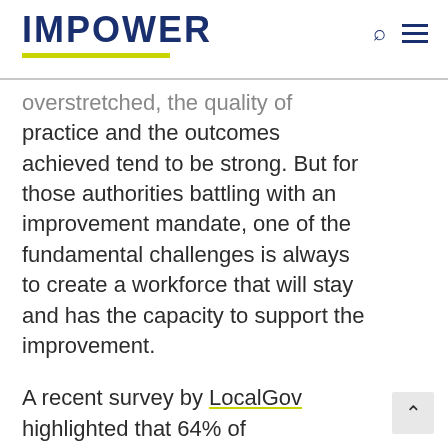IMPOWER
overstretched, the quality of practice and the outcomes achieved tend to be strong. But for those authorities battling with an improvement mandate, one of the fundamental challenges is always to create a workforce that will stay and has the capacity to support the improvement.
A recent survey by LocalGov highlighted that 64% of respondents said the pandemic has affected their mental health, with 75% feeling stressed and 65%